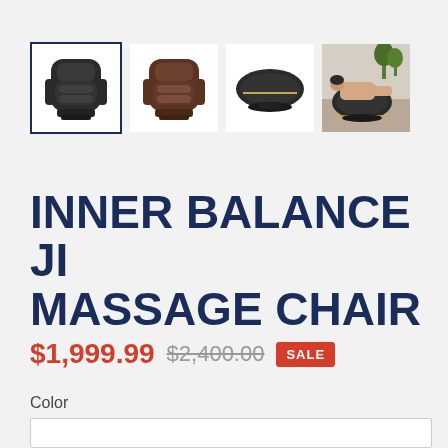[Figure (photo): Four thumbnail images of the Inner Balance Ji Massage Chair: first is a black chair front view with navy blue border (selected), second is a brown chair front view, third is a side/folded view of a black chair, fourth is a lifestyle photo of a person reclining in the chair.]
INNER BALANCE JI MASSAGE CHAIR
$1,999.99  $2,400.00  SALE
Color